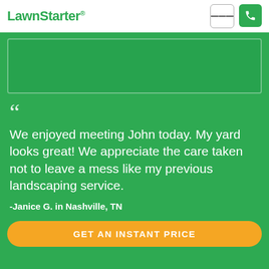LawnStarter
[Figure (illustration): Green placeholder image box with border]
We enjoyed meeting John today. My yard looks great! We appreciate the care taken not to leave a mess like my previous landscaping service.
-Janice G. in Nashville, TN
GET AN INSTANT PRICE